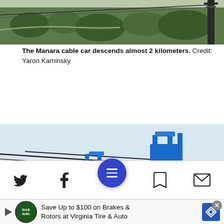[Figure (photo): Top portion of a landscape photo showing green forested hills and a dark tower structure on the right side, likely part of a cable car system.]
The Manara cable car descends almost 2 kilometers. Credit: Yaron Kaminsky
[Figure (photo): Photo of two cable car gondolas on the Manara cable car system with blue mounting hardware, suspended above green forested hills. Navigation arrows on left and right sides. A child visible in the foreground lower left.]
[Figure (infographic): Mobile web page toolbar with Twitter bird icon, Facebook f icon, circular blue menu button with three horizontal lines, bookmark icon, and envelope/mail icon. Below is an advertisement banner: Save Up to $100 on Brakes & Rotors at Virginia Tire & Auto, with a Tire & Auto logo, play button, and blue road sign arrow icon. Close button (x) in top right of ad.]